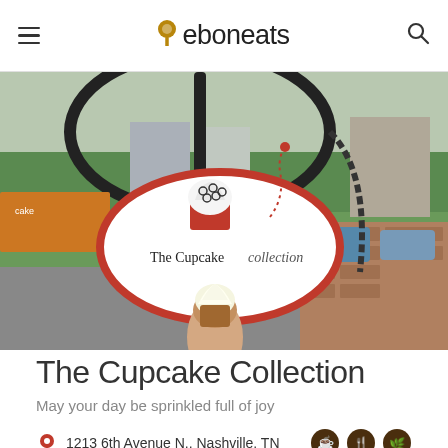eboneats
[Figure (photo): Outdoor photo of The Cupcake Collection sign — an oval white sign with red border featuring a cupcake logo and cursive text 'The Cupcake Collection'. A hand holds a real cupcake with white frosting in front of the sign. Background shows a street, brick sidewalk, grass, and parked cars.]
The Cupcake Collection
May your day be sprinkled full of joy
1213 6th Avenue N., Nashville, TN